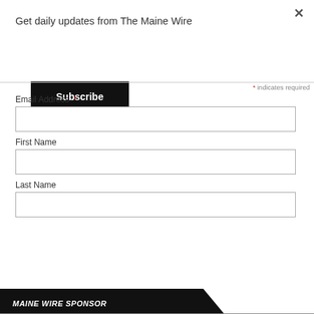Get daily updates from The Maine Wire
Subscribe
* indicates required
Email Address *
First Name
Last Name
Subscribe
MAINE WIRE SPONSOR